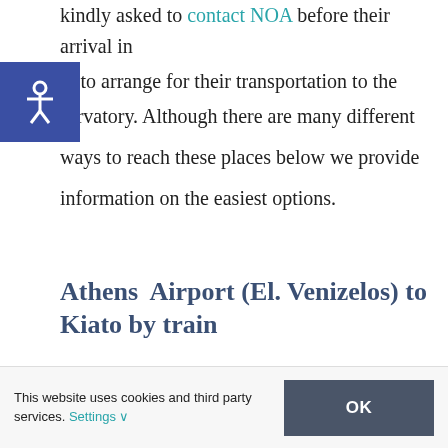kindly asked to contact NOA before their arrival in order to arrange for their transportation to the observatory. Although there are many different ways to reach these places below we provide information on the easiest options.
Athens  Airport (El. Venizelos) to Kiato by train
Kiato railway station is directly connected with the national airport El. Venizelos every hour (first
This website uses cookies and third party services. Settings ∨